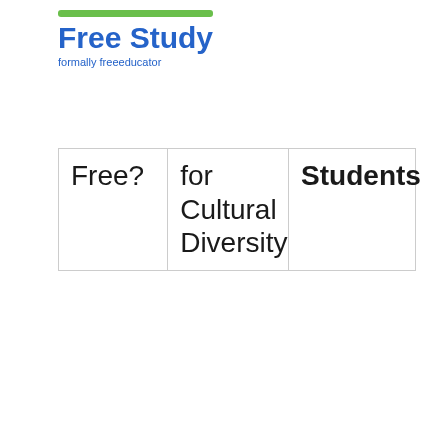Free Study formally freeeducator
| Free? | for Cultural Diversity | Students |